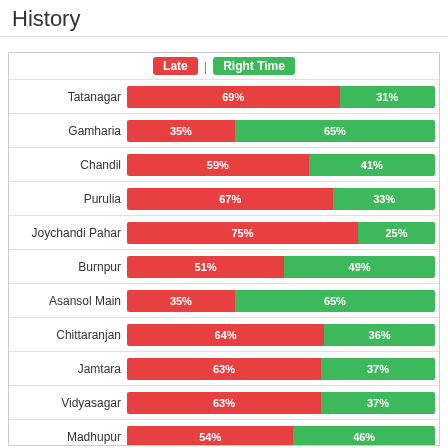History
[Figure (stacked-bar-chart): Late vs Right Time by Station]